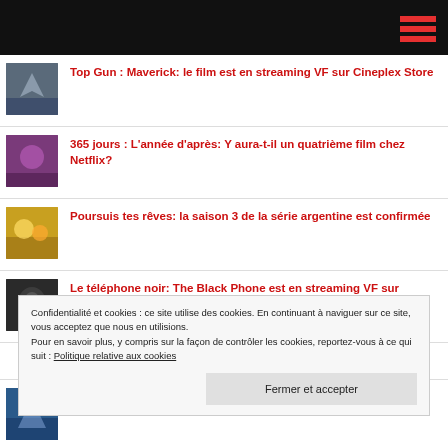Top Gun : Maverick: le film est en streaming VF sur Cineplex Store
365 jours : L'année d'après: Y aura-t-il un quatrième film chez Netflix?
Poursuis tes rêves: la saison 3 de la série argentine est confirmée
Le téléphone noir: The Black Phone est en streaming VF sur Cineplex Store
Confidentialité et cookies : ce site utilise des cookies. En continuant à naviguer sur ce site, vous acceptez que nous en utilisions. Pour en savoir plus, y compris sur la façon de contrôler les cookies, reportez-vous à ce qui suit : Politique relative aux cookies Fermer et accepter
Uncharted: le film d'action est en